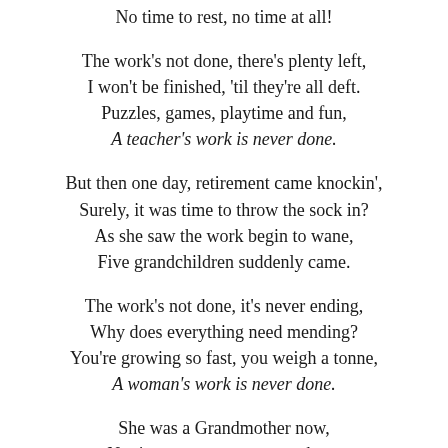No time to rest, no time at all!

The work's not done, there's plenty left,
I won't be finished, 'til they're all deft.
Puzzles, games, playtime and fun,
A teacher's work is never done.

But then one day, retirement came knockin',
Surely, it was time to throw the sock in?
As she saw the work begin to wane,
Five grandchildren suddenly came.

The work's not done, it's never ending,
Why does everything need mending?
You're growing so fast, you weigh a tonne,
A woman's work is never done.

She was a Grandmother now,
No time to rest, no way, no how.
I must teach, I must show, so I am over...